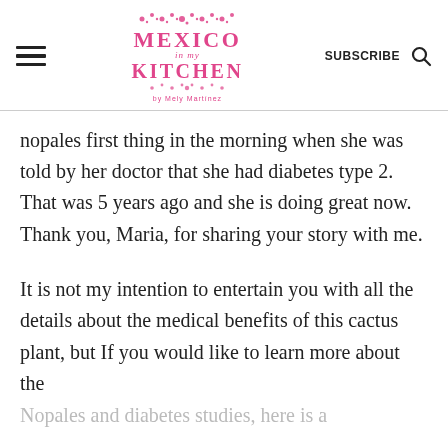Mexico In My Kitchen — SUBSCRIBE
nopales first thing in the morning when she was told by her doctor that she had diabetes type 2. That was 5 years ago and she is doing great now. Thank you, Maria, for sharing your story with me.
It is not my intention to entertain you with all the details about the medical benefits of this cactus plant, but If you would like to learn more about the
Nopales and diabetes studies, here is a